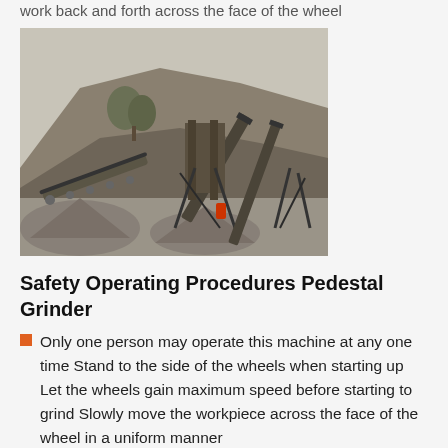work back and forth across the face of the wheel
[Figure (photo): Outdoor industrial aggregate/quarry site with conveyor belts and piles of gravel/crushed stone, set against a hillside backdrop.]
Safety Operating Procedures Pedestal Grinder
Only one person may operate this machine at any one time Stand to the side of the wheels when starting up Let the wheels gain maximum speed before starting to grind Slowly move the workpiece across the face of the wheel in a uniform manner